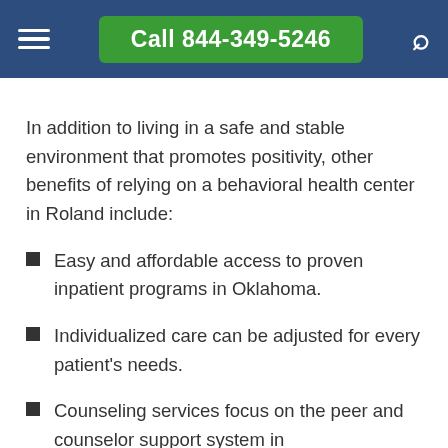Call 844-349-5246
In addition to living in a safe and stable environment that promotes positivity, other benefits of relying on a behavioral health center in Roland include:
Easy and affordable access to proven inpatient programs in Oklahoma.
Individualized care can be adjusted for every patient's needs.
Counseling services focus on the peer and counselor support system in